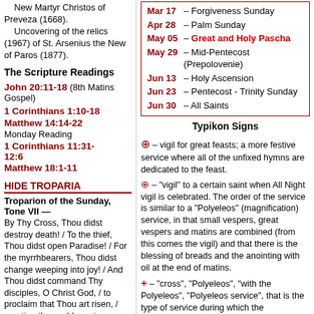New Martyr Christos of Preveza (1668). Uncovering of the relics (1967) of St. Arsenius the New of Paros (1877).
The Scripture Readings
John 20:11-18 (8th Matins Gospel)
1 Corinthians 1:10-18
Matthew 14:14-22
Monday Reading
1 Corinthians 11:31-12:6
Matthew 18:1-11
HIDE TROPARIA
Troparion of the Sunday, Tone VII —
By Thy Cross, Thou didst destroy death! / To the thief, Thou didst open Paradise! / For the myrrhbearers, Thou didst change weeping into joy! / And Thou didst command Thy disciples, O Christ God, / to proclaim that Thou art risen, / granting the world great
| Date | Event |
| --- | --- |
| Mar 17 | Forgiveness Sunday |
| Apr 28 | Palm Sunday |
| May 05 | Great and Holy Pascha |
| May 29 | Mid-Pentecost (Prepolovenie) |
| Jun 13 | Holy Ascension |
| Jun 23 | Pentecost - Trinity Sunday |
| Jun 30 | All Saints |
Typikon Signs
⊕ – vigil for great feasts; a more festive service where all of the unfixed hymns are dedicated to the feast.
⊕ – "vigil" to a certain saint when All Night vigil is celebrated. The order of the service is similar to a "Polyeleos" (magnification) service, in that small vespers, great vespers and matins are combined (from this comes the vigil) and that there is the blessing of breads and the anointing with oil at the end of matins.
+ – "cross", "Polyeleos", "with the Polyeleos", "Polyeleos service", that is the type of service during which the "Polyeleos" (Praise/Magnification) is sung during matins (the majestic singing of the 134 and 135 psalms with verses); in addition, during this service there is a reading from the Gospel, the prokeimenon, gradual antiphons, the canon with 8 troparions, the praises and Great Doxology are sung, and during vespers "Blessed is the man" is sung (first "Glory" of the 1st kathisma), there is an